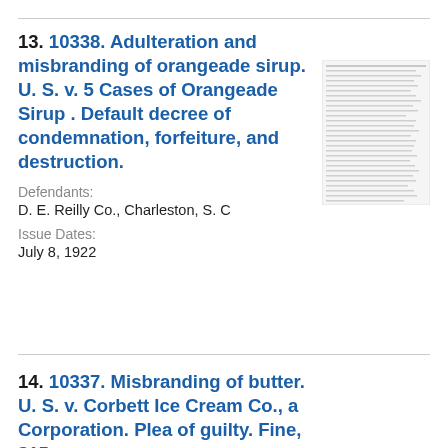13. 10338. Adulteration and misbranding of orangeade sirup. U. S. v. 5 Cases of Orangeade Sirup . Default decree of condemnation, forfeiture, and destruction.
Defendants: D. E. Reilly Co., Charleston, S. C
Issue Dates: July 8, 1922
[Figure (other): Small thumbnail image of a legal document page]
14. 10337. Misbranding of butter. U. S. v. Corbett Ice Cream Co., a Corporation. Plea of guilty. Fine, $15.
Defendants:
[Figure (other): Small thumbnail image of a legal document page]